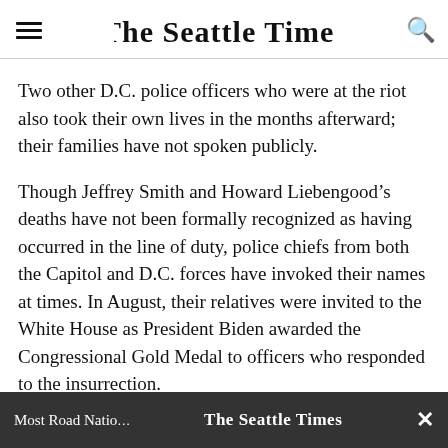The Seattle Times
Two other D.C. police officers who were at the riot also took their own lives in the months afterward; their families have not spoken publicly.
Though Jeffrey Smith and Howard Liebengood’s deaths have not been formally recognized as having occurred in the line of duty, police chiefs from both the Capitol and D.C. forces have invoked their names at times. In August, their relatives were invited to the White House as President Biden awarded the Congressional Gold Medal to officers who responded to the insurrection.
Most Road Natio…  The Seattle Times  ×